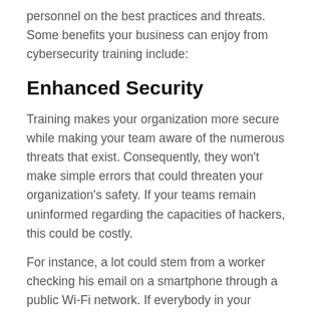personnel on the best practices and threats. Some benefits your business can enjoy from cybersecurity training include:
Enhanced Security
Training makes your organization more secure while making your team aware of the numerous threats that exist. Consequently, they won’t make simple errors that could threaten your organization’s safety. If your teams remain uninformed regarding the capacities of hackers, this could be costly.
For instance, a lot could stem from a worker checking his email on a smartphone through a public Wi-Fi network. If everybody in your organization is adopting similar business measures, a data breach is less likely to occur.